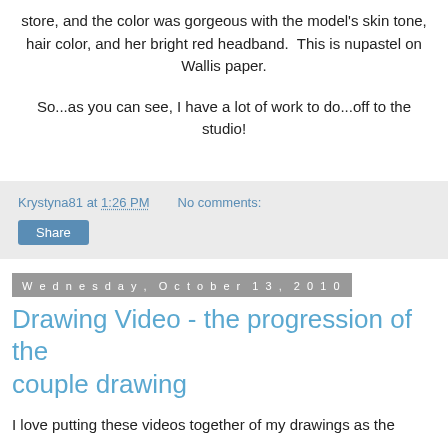store, and the color was gorgeous with the model's skin tone, hair color, and her bright red headband.  This is nupastel on Wallis paper.
So...as you can see, I have a lot of work to do...off to the studio!
Krystyna81 at 1:26 PM   No comments:
Share
Wednesday, October 13, 2010
Drawing Video - the progression of the couple drawing
I love putting these videos together of my drawings as the